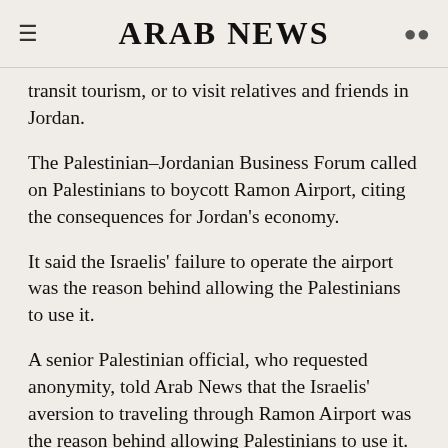ARAB NEWS
transit tourism, or to visit relatives and friends in Jordan.
The Palestinian–Jordanian Business Forum called on Palestinians to boycott Ramon Airport, citing the consequences for Jordan's economy.
It said the Israelis' failure to operate the airport was the reason behind allowing the Palestinians to use it.
A senior Palestinian official, who requested anonymity, told Arab News that the Israelis' aversion to traveling through Ramon Airport was the reason behind allowing Palestinians to use it.